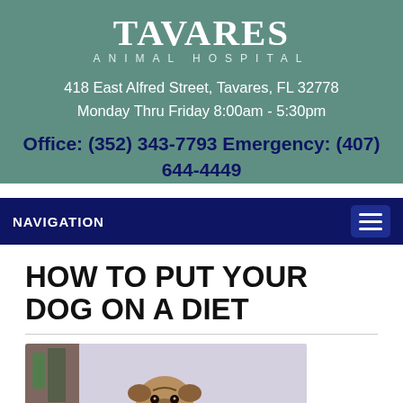TAVARES
ANIMAL HOSPITAL
418 East Alfred Street, Tavares, FL 32778
Monday Thru Friday 8:00am - 5:30pm
Office: (352) 343-7793 Emergency: (407) 644-4449
NAVIGATION
HOW TO PUT YOUR DOG ON A DIET
[Figure (photo): A pug dog sitting upright, looking at the camera, with a light purple/lavender background]